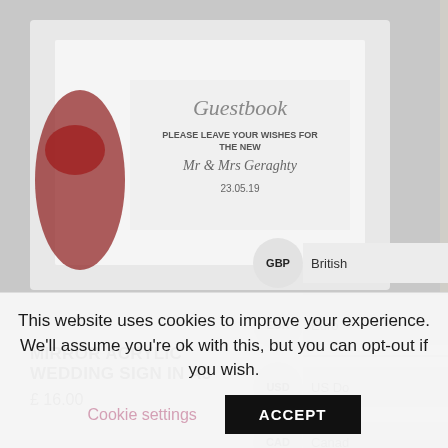[Figure (photo): Mirror acrylic wedding guestbook sign with red rose, white text reading 'Guestbook - Please leave your wishes for the new Mr & Mrs Geraghty 23.05.19']
[Figure (photo): Frosted acrylic table plan A1 with botanical decorations and elegant script text]
MIRROR ACRYLIC WEDDING SIGN IN A5
£ 16.00
FROSTED ACRYLIC TABLE PLAN A1
£ 125.00
GBP British
EUR Euro
USD US Do
CAD Canad
AUD Austral
This website uses cookies to improve your experience. We'll assume you're ok with this, but you can opt-out if you wish.
Cookie settings
ACCEPT